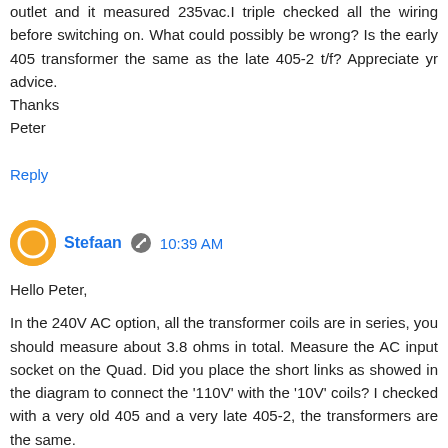outlet and it measured 235vac.I triple checked all the wiring before switching on. What could possibly be wrong? Is the early 405 transformer the same as the late 405-2 t/f? Appreciate yr advice.
Thanks
Peter
Reply
Stefaan  10:39 AM
Hello Peter,

In the 240V AC option, all the transformer coils are in series, you should measure about 3.8 ohms in total. Measure the AC input socket on the Quad. Did you place the short links as showed in the diagram to connect the '110V' with the '10V' coils? I checked with a very old 405 and a very late 405-2, the transformers are the same.

Regards Joost
Reply